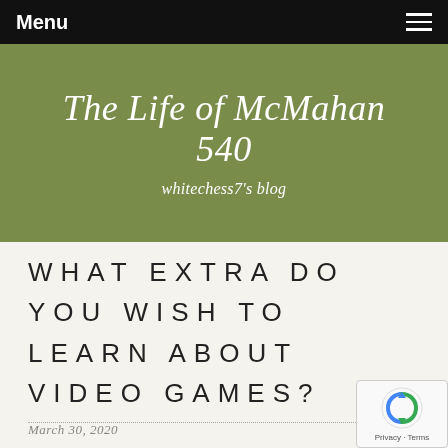Menu
The Life of McMahan 540
whitechess7's blog
WHAT EXTRA DO YOU WISH TO LEARN ABOUT VIDEO GAMES?
March 30, 2020